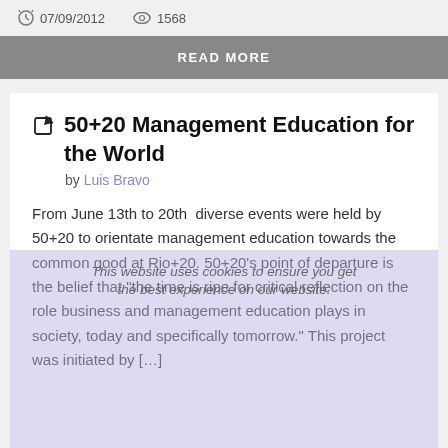07/09/2012   1568
READ MORE
50+20 Management Education for the World
by Luis Bravo
From June 13th to 20th  diverse events were held by 50+20 to orientate management education towards the common good at Rio+20. 50+20's point of departure is the belief that “the time is ripe for critical reflection on the role business and management education plays in society, today and specifically tomorrow.” This project was initiated by […]
Got it
06/23/2012   1834